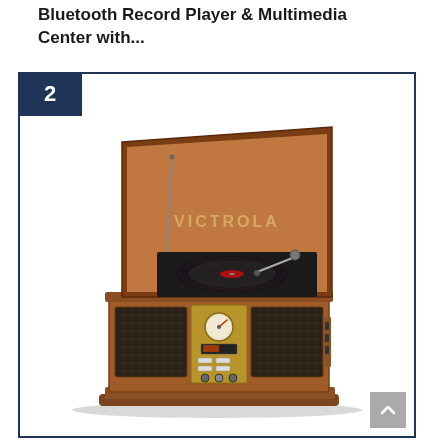Bluetooth Record Player & Multimedia Center with...
[Figure (photo): Product listing item #2: A Victrola brand vintage-style Bluetooth record player and multimedia center. The unit features a wooden cabinet in mahogany finish with an open lid revealing a turntable with a vinyl record, two speaker grilles on the front, a central control panel with a dial/gauge and multiple buttons, and a cassette/CD area. The word VICTROLA is printed on the inside of the open lid.]